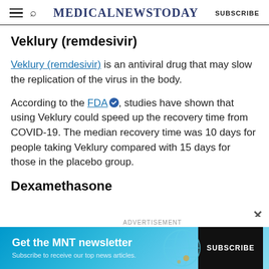MedicalNewsToday | SUBSCRIBE
Veklury (remdesivir)
Veklury (remdesivir) is an antiviral drug that may slow the replication of the virus in the body.
According to the FDA, studies have shown that using Veklury could speed up the recovery time from COVID-19. The median recovery time was 10 days for people taking Veklury compared with 15 days for those in the placebo group.
Dexamethasone
[Figure (screenshot): Advertisement banner: Get the MNT newsletter - Subscribe to receive our top news articles - SUBSCRIBE button]